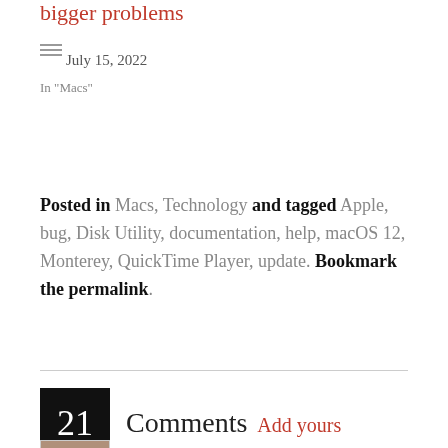bigger problems
July 15, 2022
In "Macs"
Posted in Macs, Technology and tagged Apple, bug, Disk Utility, documentation, help, macOS 12, Monterey, QuickTime Player, update. Bookmark the permalink.
21 Comments Add yours
Michael Bach on November 14,